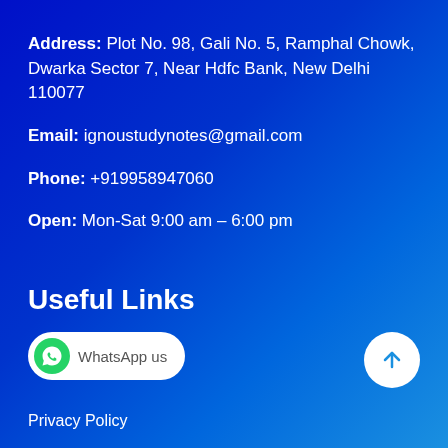Address: Plot No. 98, Gali No. 5, Ramphal Chowk, Dwarka Sector 7, Near Hdfc Bank, New Delhi 110077
Email: ignoustudynotes@gmail.com
Phone: +919958947060
Open: Mon-Sat 9:00 am – 6:00 pm
Useful Links
[Figure (other): WhatsApp us button with green WhatsApp logo icon and rounded white pill shape]
Privacy Policy